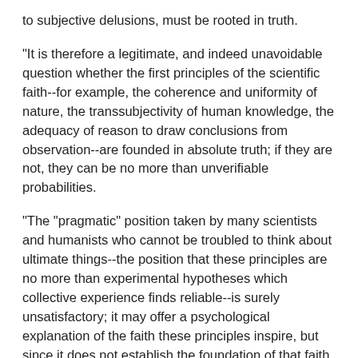to subjective delusions, must be rooted in truth.
"It is therefore a legitimate, and indeed unavoidable question whether the first principles of the scientific faith--for example, the coherence and uniformity of nature, the transsubjectivity of human knowledge, the adequacy of reason to draw conclusions from observation--are founded in absolute truth; if they are not, they can be no more than unverifiable probabilities.
"The "pragmatic" position taken by many scientists and humanists who cannot be troubled to think about ultimate things--the position that these principles are no more than experimental hypotheses which collective experience finds reliable--is surely unsatisfactory; it may offer a psychological explanation of the faith these principles inspire, but since it does not establish the foundation of that faith in truth, it leaves the whole scientific edifice on shifting sands and provides no sure defense against the irrational winds that periodically attack it.
*